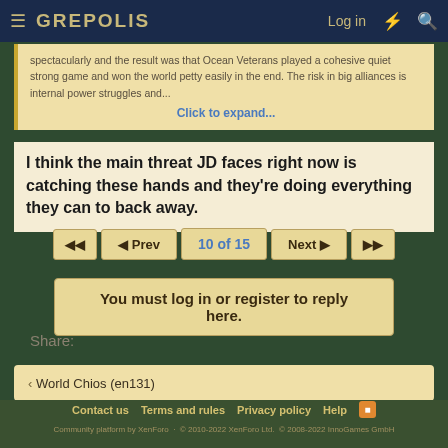GREPOLIS | Log in
spectacularly and the result was that Ocean Veterans played a cohesive quiet strong game and won the world petty easily in the end. The risk in big alliances is internal power struggles and...
Click to expand...
I think the main threat JD faces right now is catching these hands and they're doing everything they can to back away.
10 of 15
You must log in or register to reply here.
Share:
World Chios (en131)
Contact us  Terms and rules  Privacy policy  Help
Community platform by XenForo  © 2010-2022 XenForo Ltd.  © 2008-2022 InnoGames GmbH